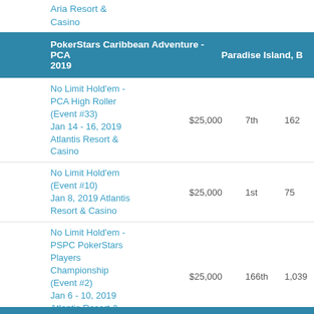Aria Resort & Casino
PokerStars Caribbean Adventure - PCA 2019   Paradise Island, B
| Event | Buy-in | Place | Entries | Winnings |  |
| --- | --- | --- | --- | --- | --- |
| No Limit Hold'em - PCA High Roller (Event #33)
Jan 14 - 16, 2019
Atlantis Resort & Casino | $25,000 | 7th | 162 | $152,460 | — |
| No Limit Hold'em (Event #10)
Jan 8, 2019 Atlantis Resort & Casino | $25,000 | 1st | 75 | $495,210 | — |
| No Limit Hold'em - PSPC PokerStars Players Championship (Event #2)
Jan 6 - 10, 2019
Atlantis Resort & Casino | $25,000 | 166th | 1,039 | $25,450 | — |